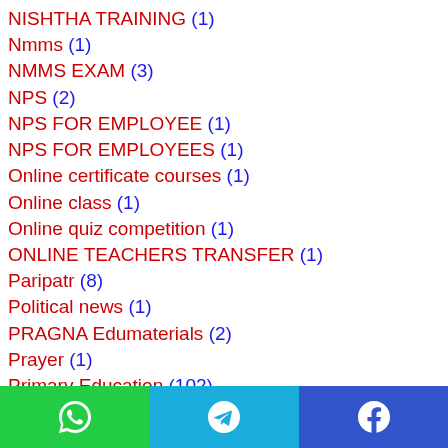NISHTHA TRAINING (1)
Nmms (1)
NMMS EXAM (3)
NPS (2)
NPS FOR EMPLOYEE (1)
NPS FOR EMPLOYEES (1)
Online certificate courses (1)
Online class (1)
Online quiz competition (1)
ONLINE TEACHERS TRANSFER (1)
Paripatr (8)
Political news (1)
PRAGNA Edumaterials (2)
Prayer (1)
Primary Education (102)
Pun KASOTI (2)
Pramod (2)
[Figure (other): Social sharing footer bar with WhatsApp (green), Telegram (blue), and Facebook (indigo) icons]